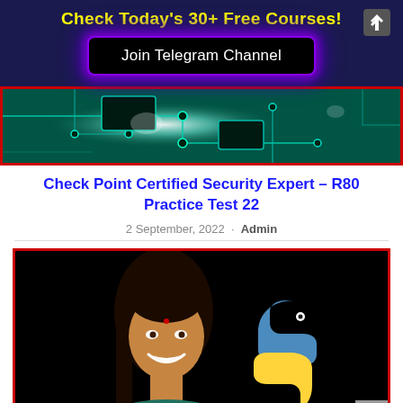Check Today's 30+ Free Courses!
Join Telegram Channel
[Figure (photo): Teal/green circuit board close-up photo used as article thumbnail banner]
Check Point Certified Security Expert – R80 Practice Test 22
2 September, 2022 · Admin
[Figure (photo): Course thumbnail showing a smiling woman with dark hair on a black background alongside a Python programming language logo (blue and yellow snake symbol)]